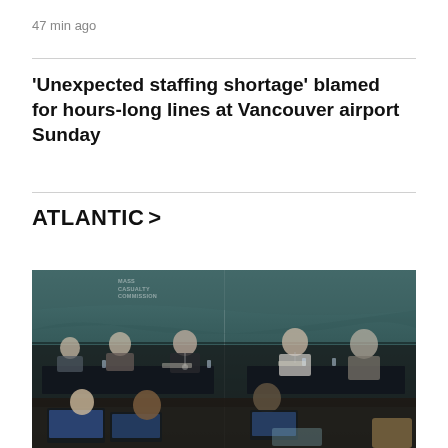47 min ago
'Unexpected staffing shortage' blamed for hours-long lines at Vancouver airport Sunday
ATLANTIC >
[Figure (photo): People seated at a panel table with dark teal/green wave-patterned backdrop, with audience members visible in the foreground working on laptops. A watermark reads 'MASS CASUALTY COMMISSION'.]